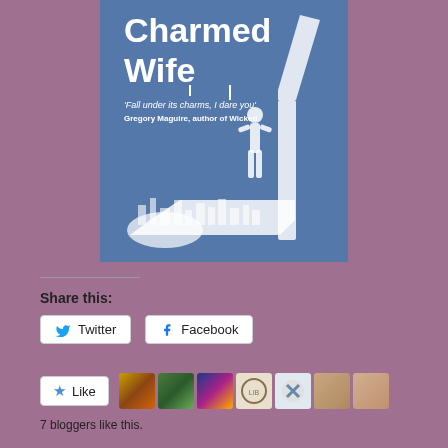[Figure (illustration): Book cover of 'Charmed Wife' showing a blue background with a large high heel shoe silhouette containing a city skyline and a woman figure. Text reads 'Charmed Wife', 'Fall under its charms, I dare you', 'Gregory Maguire, author of Wicked']
Share this:
Twitter  Facebook
Like  [7 blogger avatars]
7 bloggers like this.